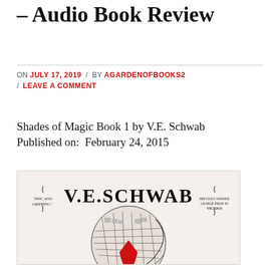– Audio Book Review
ON JULY 17, 2019 / BY AGARDENOFBOOKS2 / LEAVE A COMMENT
Shades of Magic Book 1 by V.E. Schwab
Published on:  February 24, 2015
[Figure (photo): Book cover of A Darker Shade of Magic by V.E. Schwab, featuring the author name in large serif type at top, with curly brace decorations and quotes 'EPIC AND GRIPPING' on left and 'PREVIOUS WINNER GEORGE PRIZE IN VICIOUS' on right, and a circular illustration below showing a map-like design of London with a red cloaked figure.]